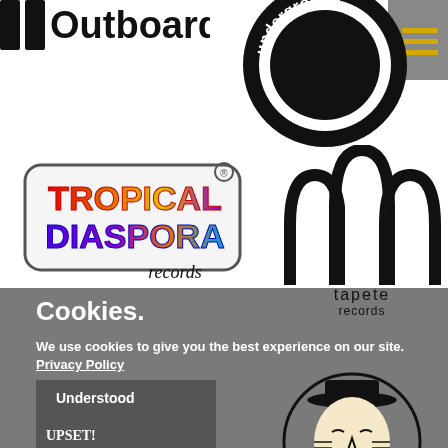[Figure (logo): Partially visible logo at top left - appears to be 'Outboard' label logo]
[Figure (logo): Underground records circular black logo with white cursive text]
[Figure (logo): Hamburger menu icon with yellow/gold lines on gray background]
[Figure (logo): Tropical Diaspora Records - colorful retro style logo]
[Figure (logo): Tapete Records - black and white arch/rainbow logo with text]
Cookies.
We use cookies to give you the best experience on our site. Privacy Policy
[Figure (logo): Upset! The Church - dark logo with figure, partially visible. 'Understood' button overlay]
[Figure (logo): Circular illustration logo showing a face with hat]